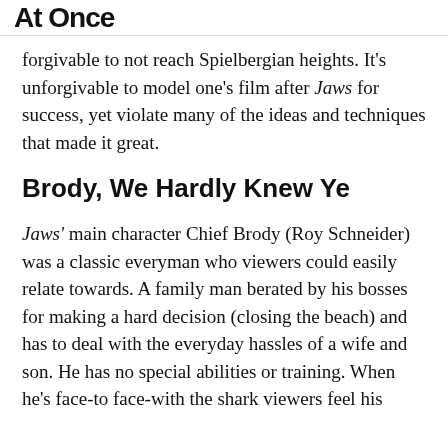At Once
forgivable to not reach Spielbergian heights. It's unforgivable to model one's film after Jaws for success, yet violate many of the ideas and techniques that made it great.
Brody, We Hardly Knew Ye
Jaws' main character Chief Brody (Roy Schneider) was a classic everyman who viewers could easily relate towards. A family man berated by his bosses for making a hard decision (closing the beach) and has to deal with the everyday hassles of a wife and son. He has no special abilities or training. When he's face-to face-with the shark viewers feel his